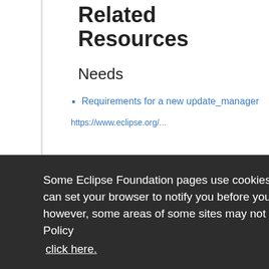Related Resources
Needs
Requirements for a new update_manager
Some Eclipse Foundation pages use cookies to better serve you when you return to the site. You can set your browser to notify you before you receive a cookie or turn off cookies. If you do so, however, some areas of some sites may not function properly. To read Eclipse Foundation Privacy Policy
click here.
Decline
Allow cookies